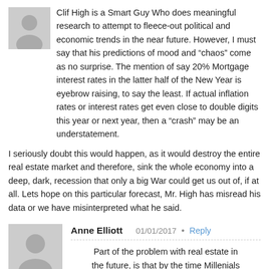Clif High is a Smart Guy Who does meaningful research to attempt to fleece-out political and economic trends in the near future. However, I must say that his predictions of mood and “chaos” come as no surprise. The mention of say 20% Mortgage interest rates in the latter half of the New Year is eyebrow raising, to say the least. If actual inflation rates or interest rates get even close to double digits this year or next year, then a “crash” may be an understatement.
I seriously doubt this would happen, as it would destroy the entire real estate market and therefore, sink the whole economy into a deep, dark, recession that only a big War could get us out of, if at all. Lets hope on this particular forecast, Mr. High has misread his data or we have misinterpreted what he said.
Anne Elliott
01/01/2017
Reply
Part of the problem with real estate in the future, is that by the time Millenials are old enough to want to buy any, they won’t be able